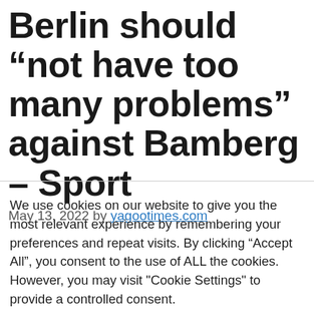Berlin should “not have too many problems” against Bamberg – Sport
May 13, 2022 by yagootimes.com
We use cookies on our website to give you the most relevant experience by remembering your preferences and repeat visits. By clicking “Accept All”, you consent to the use of ALL the cookies. However, you may visit "Cookie Settings" to provide a controlled consent.